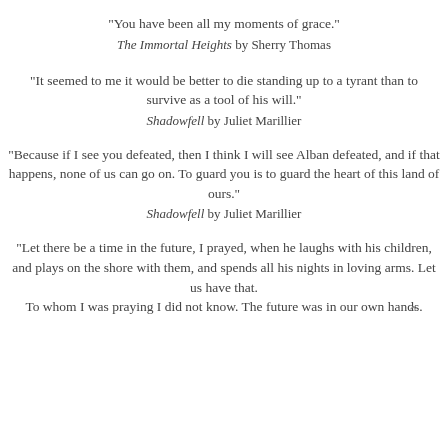“You have been all my moments of grace.”
The Immortal Heights by Sherry Thomas
“It seemed to me it would be better to die standing up to a tyrant than to survive as a tool of his will.”
Shadowfell by Juliet Marillier
“Because if I see you defeated, then I think I will see Alban defeated, and if that happens, none of us can go on. To guard you is to guard the heart of this land of ours.”
Shadowfell by Juliet Marillier
“Let there be a time in the future, I prayed, when he laughs with his children, and plays on the shore with them, and spends all his nights in loving arms. Let us have that. To whom I was praying I did not know. The future was in our own hands.